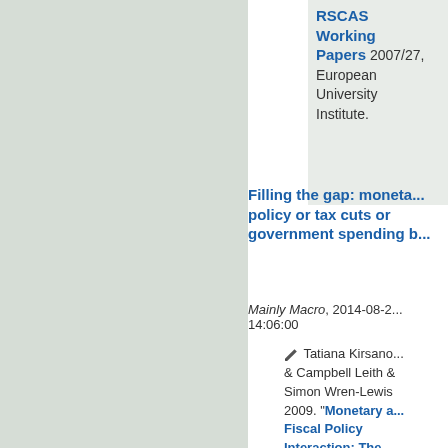RSCAS Working Papers 2007/27, European University Institute.
Filling the gap: monetary policy or tax cuts or government spending b...
Mainly Macro, 2014-08-2... 14:06:00
Tatiana Kirsano... & Campbell Leith & Simon Wren-Lewis 2009. "Monetary and Fiscal Policy Interaction: The Current Consensus Assignment in the Light of Recent Developments." Economic Journal, Royal Economic ...
Top of page